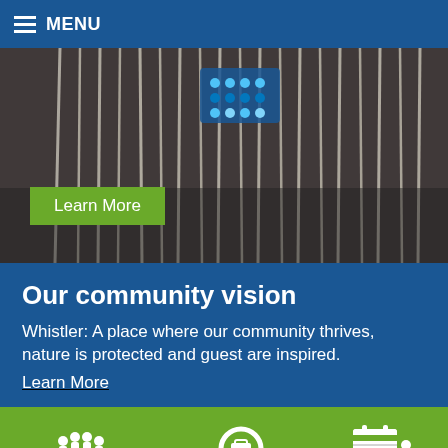MENU
[Figure (photo): Hero image showing a person in traditional Indigenous regalia with white fringe and blue beaded detail. A green 'Learn More' button overlays the lower portion.]
Our community vision
Whistler: A place where our community thrives, nature is protected and guest are inspired.
Learn More
[Figure (infographic): Green navigation bar with three white icons and labels: Council (group of people around a table), Careers (magnifying glass with briefcase), Events (calendar with clock). A blue scroll-to-top button with upward chevron is in the bottom-right corner.]